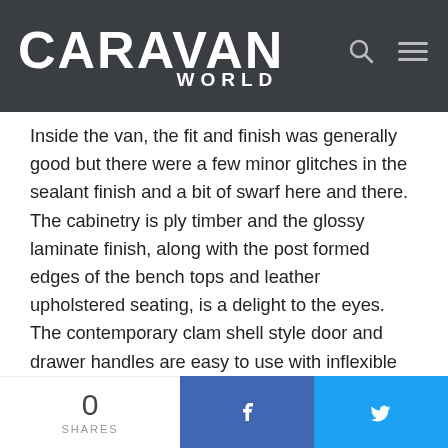CARAVAN WORLD
Inside the van, the fit and finish was generally good but there were a few minor glitches in the sealant finish and a bit of swarf here and there. The cabinetry is ply timber and the glossy laminate finish, along with the post formed edges of the bench tops and leather upholstered seating, is a delight to the eyes. The contemporary clam shell style door and drawer handles are easy to use with inflexible fingers. In the bathroom, the shower cubicle is a one-piece unit and the Dometic toilet has a ceramic bowl.
Much of the innovation in the Regent Cruiser is found in the composite body structure with its fully welded aluminium frame integrated into the sandwich panel wall, floor, and roof structure. The use of the slide-out while not new in the RV industry, is slightly unusual in the world of caravans and not used all that
0 SHARES